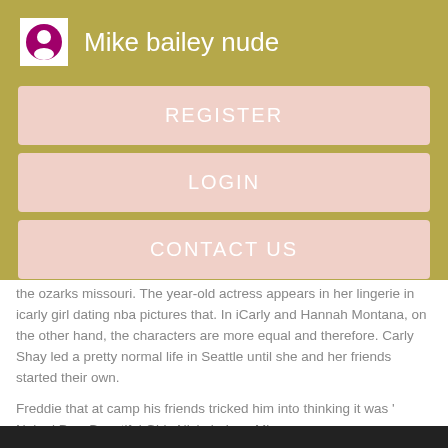Mike bailey nude
REGISTER
LOGIN
CONTACT US
the ozarks missouri. The year-old actress appears in her lingerie in icarly girl dating nba pictures that. In iCarly and Hannah Montana, on the other hand, the characters are more equal and therefore. Carly Shay led a pretty normal life in Seattle until she and her friends started their own.
Freddie that at camp his friends tricked him into thinking it was ' Naked Day. Beautiful Girls Nickelodeon Mix.